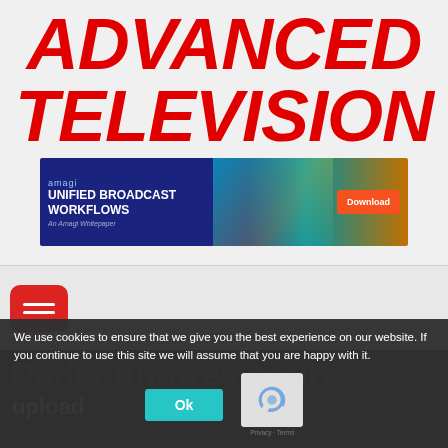ADVANCED TELEVISION
[Figure (infographic): Amagi advertisement banner: UNIFIED BROADCAST WORKFLOWS - An Amagi Whitepaper, with Download button]
[Figure (other): Red hamburger menu button with three horizontal white lines]
Dadegunotrés courte upload
October 10, 2007
We use cookies to ensure that we give you the best experience on our website. If you continue to use this site we will assume that you are happy with it.
Ok